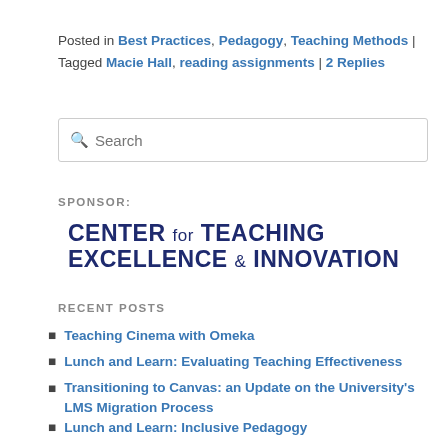Posted in Best Practices, Pedagogy, Teaching Methods | Tagged Macie Hall, reading assignments | 2 Replies
[Figure (other): Search input box with magnifying glass icon and placeholder text 'Search']
SPONSOR:
[Figure (logo): Center for Teaching Excellence & Innovation logo in dark navy bold text]
RECENT POSTS
Teaching Cinema with Omeka
Lunch and Learn: Evaluating Teaching Effectiveness
Transitioning to Canvas: an Update on the University's LMS Migration Process
Lunch and Learn: Inclusive Pedagogy
Quick Tips: Alternative Assessments